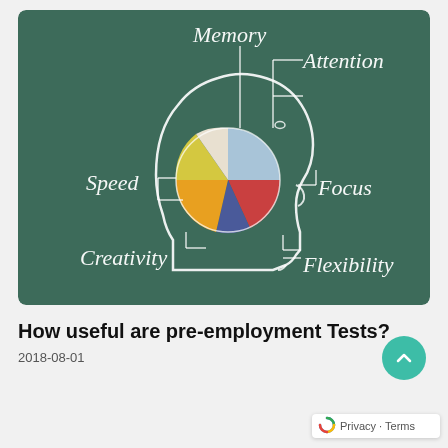[Figure (illustration): Chalkboard illustration of a human head profile with a pie chart inside the brain area, with white chalk text labels: Memory, Attention, Speed, Focus, Creativity, Flexibility — each connected by lines to different segments of the pie chart.]
How useful are pre-employment Tests?
2018-08-01